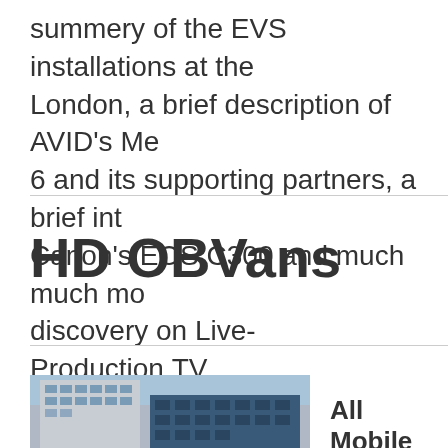summery of the EVS installations at the London, a brief description of AVID's Me 6 and its supporting partners, a brief int Canon's EOS C300 and much much mo discovery on Live-Production.TV
HD OBVans
[Figure (photo): Exterior photo of a building facade with blue glass windows]
All Mobile Vid